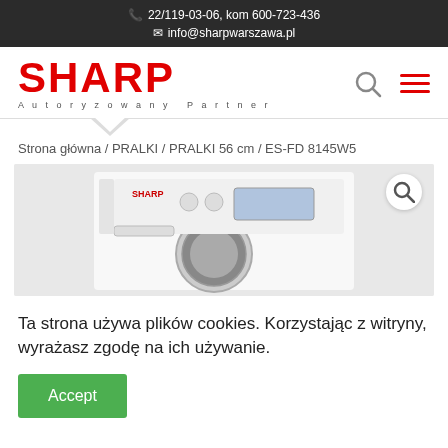22/119-03-06, kom 600-723-436
info@sharpwarszawa.pl
[Figure (logo): SHARP Autoryzowany Partner logo in red]
Strona główna / PRALKI / PRALKI 56 cm / ES-FD 8145W5
[Figure (photo): Sharp washing machine ES-FD 8145W5 product photo, white front-loader with control panel]
Ta strona używa plików cookies. Korzystając z witryny, wyrażasz zgodę na ich używanie.
Accept